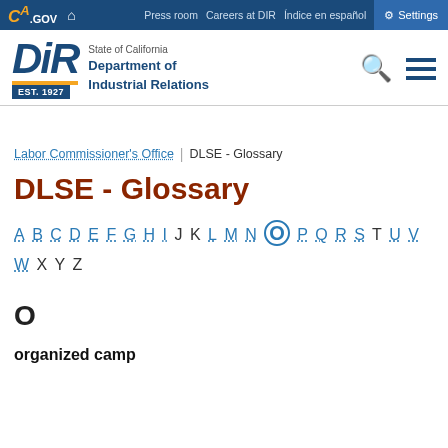Press room  Careers at DIR  Índice en español  Settings  CA.GOV  State of California Department of Industrial Relations  EST. 1927
Labor Commissioner's Office  |  DLSE - Glossary
DLSE - Glossary
A B C D E F G H I J K L M N O P Q R S T U V W X Y Z
O
organized camp